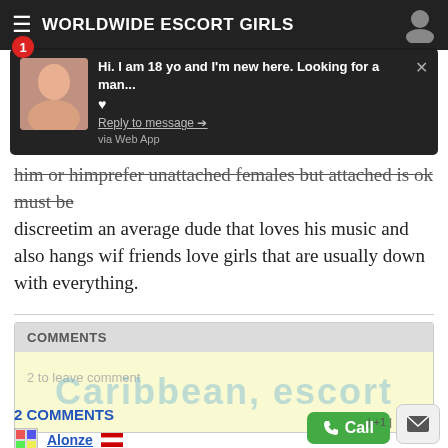WORLDWIDE ESCORT GIRLS
[Figure (screenshot): Notification popup overlay: 'Hi. I am 18 yo and I'm new here. Looking for a man...' with heart icon, Reply to message link, via Web App text, and thumbnail image]
him or himprefer unattached females but attached is ok must be discreetim an average dude that loves his music and also hangs wif friends love girls that are usually down with everything.
COMMENTS
2 to leave comment
Caribbean, escort
2 COMMENTS
Alonze
06.11.2021 in 01:51